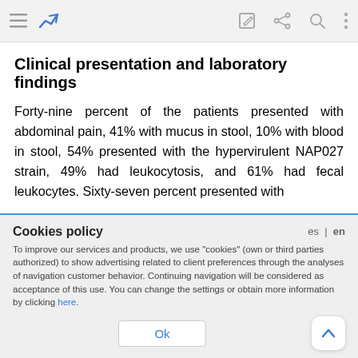Navigation bar with icons
Clinical presentation and laboratory findings
Forty-nine percent of the patients presented with abdominal pain, 41% with mucus in stool, 10% with blood in stool, 54% presented with the hypervirulent NAP027 strain, 49% had leukocytosis, and 61% had fecal leukocytes. Sixty-seven percent presented with
Cookies policy
es | en
To improve our services and products, we use "cookies" (own or third parties authorized) to show advertising related to client preferences through the analyses of navigation customer behavior. Continuing navigation will be considered as acceptance of this use. You can change the settings or obtain more information by clicking here.
Ok